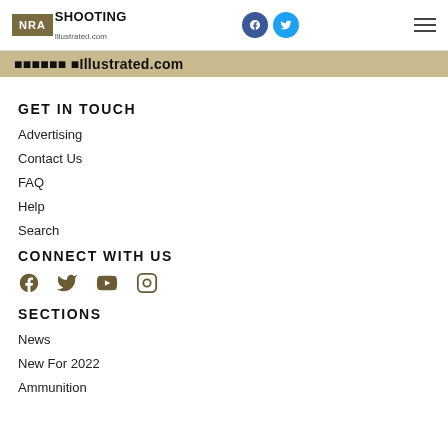NRA Shooting Illustrated.com
[Figure (logo): NRA Shooting Illustrated.com partial logo banner in tan/brown]
GET IN TOUCH
Advertising
Contact Us
FAQ
Help
Search
CONNECT WITH US
[Figure (illustration): Social media icons: Facebook, Twitter, YouTube, Instagram in olive/brown color]
SECTIONS
News
New For 2022
Ammunition